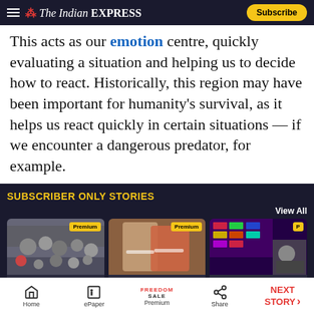The Indian Express — Subscribe
This acts as our emotion centre, quickly evaluating a situation and helping us to decide how to react. Historically, this region may have been important for humanity's survival, as it helps us react quickly in certain situations — if we encounter a dangerous predator, for example.
SUBSCRIBER ONLY STORIES
View All
[Figure (photo): Crowd of people wearing masks — Premium story card]
19 states cross pre-
[Figure (photo): Two people wearing masks, one in red sari — Premium story card]
In window for
[Figure (photo): Stock market trading floor — Premium story card]
Explained: US
Home | ePaper | Premium | Share | NEXT STORY